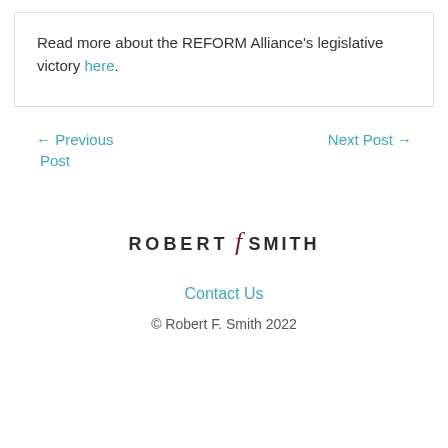Read more about the REFORM Alliance's legislative victory here.
← Previous Post
Next Post →
[Figure (logo): Robert F. Smith logo with stylized italic 'f' in dark red between 'ROBERT' and 'SMITH' in dark uppercase letters]
Contact Us
© Robert F. Smith 2022